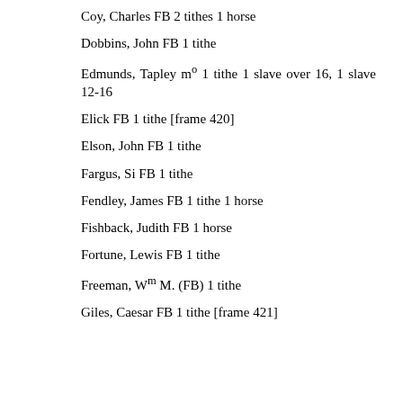Coy, Charles FB 2 tithes 1 horse
Dobbins, John FB 1 tithe
Edmunds, Tapley m° 1 tithe 1 slave over 16, 1 slave 12-16
Elick FB 1 tithe [frame 420]
Elson, John FB 1 tithe
Fargus, Si FB 1 tithe
Fendley, James FB 1 tithe 1 horse
Fishback, Judith FB 1 horse
Fortune, Lewis FB 1 tithe
Freeman, Wm M. (FB) 1 tithe
Giles, Caesar FB 1 tithe [frame 421]